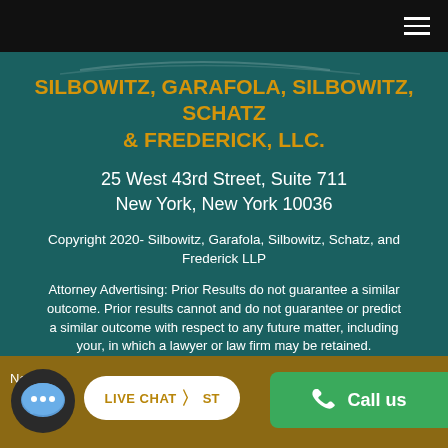Navigation bar with hamburger menu
SILBOWITZ, GARAFOLA, SILBOWITZ, SCHATZ & FREDERICK, LLC.
25 West 43rd Street, Suite 711
New York, New York 10036
Copyright 2020- Silbowitz, Garafola, Silbowitz, Schatz, and Frederick LLP
Attorney Advertising: Prior Results do not guarantee a similar outcome. Prior results cannot and do not guarantee or predict a similar outcome with respect to any future matter, including your, in which a lawyer or law firm may be retained.
Notic... LIVE CHAT  ST... Call us